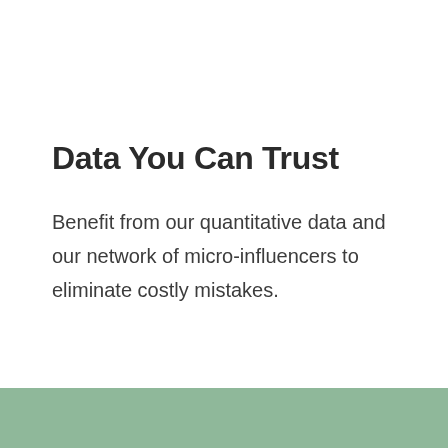Data You Can Trust
Benefit from our quantitative data and our network of micro-influencers to eliminate costly mistakes.